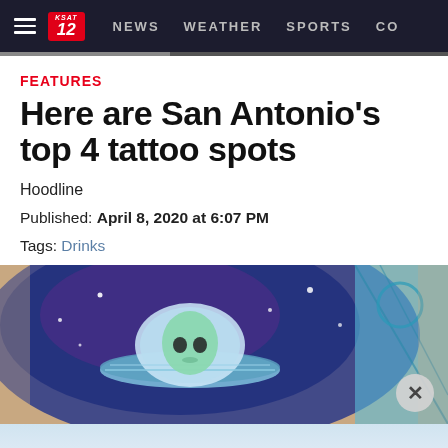NEWS  WEATHER  SPORTS  CO
FEATURES
Here are San Antonio's top 4 tattoo spots
Hoodline
Published: April 8, 2020 at 6:07 PM
Tags: Drinks
[Figure (photo): Close-up photo of a colorful tattoo showing an alien figure in a UFO/spacecraft with a blue cosmic/space background and teal geometric design on the right]